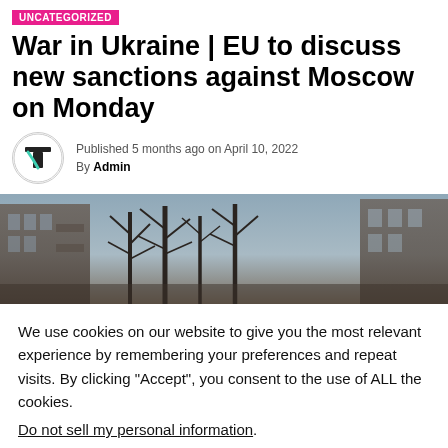UNCATEGORIZED
War in Ukraine | EU to discuss new sanctions against Moscow on Monday
Published 5 months ago on April 10, 2022
By Admin
[Figure (photo): Photograph of a city street scene with bare winter trees and apartment buildings under an overcast sky]
We use cookies on our website to give you the most relevant experience by remembering your preferences and repeat visits. By clicking “Accept”, you consent to the use of ALL the cookies.
Do not sell my personal information.
Cookie Settings   Accept